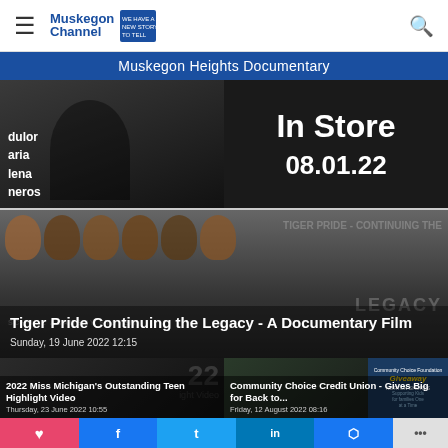Muskegon Channel
Muskegon Heights Documentary
[Figure (screenshot): Split image: left side shows a person with text overlay of author name 'dulor aria lena neros' and date 'Monday, 01 August 2022 15:05'; right side shows dark background with text 'In Store 08.01.22']
[Figure (screenshot): Tiger Pride Continuing the Legacy documentary thumbnail showing group of smiling Black men with text overlay]
Tiger Pride Continuing the Legacy - A Documentary Film
Sunday, 19 June 2022 12:15
[Figure (screenshot): 2022 Miss Michigan's Outstanding Teen Highlight Video thumbnail, dark background]
2022 Miss Michigan's Outstanding Teen Highlight Video
Thursday, 23 June 2022 10:55
[Figure (screenshot): Community Choice Credit Union - Gives Big for Back to... thumbnail with Giveaway flyer showing Norton Shores community]
Community Choice Credit Union - Gives Big for Back to...
Friday, 12 August 2022 08:16
♥  f  t  in  messenger  ...